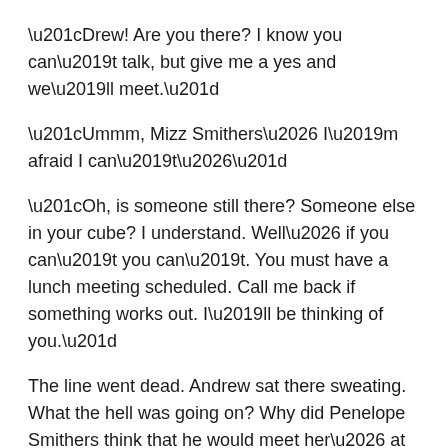“Drew! Are you there? I know you can’t talk, but give me a yes and we’ll meet.”
“Ummm, Mizz Smithers… I’m afraid I can’t…”
“Oh, is someone still there? Someone else in your cube? I understand. Well… if you can’t you can’t. You must have a lunch meeting scheduled. Call me back if something works out. I’ll be thinking of you.”
The line went dead. Andrew sat there sweating. What the hell was going on? Why did Penelope Smithers think that he would meet her… at the usual place. She thought they were having some sort of an affair. Sitting there, thinking back, he began to remember things about Penelope… about Pen – he was beginning to think of her as Pen, and he was feeling something… he wasn’t sure what, when